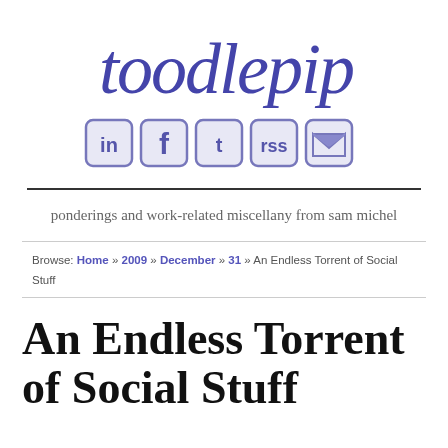[Figure (logo): toodlepip handwritten logo in blue/purple ink]
[Figure (infographic): Social media icons: LinkedIn, Facebook, Twitter, RSS, Email — blue/purple square icons with rounded corners]
ponderings and work-related miscellany from sam michel
Browse: Home » 2009 » December » 31 » An Endless Torrent of Social Stuff
An Endless Torrent of Social Stuff